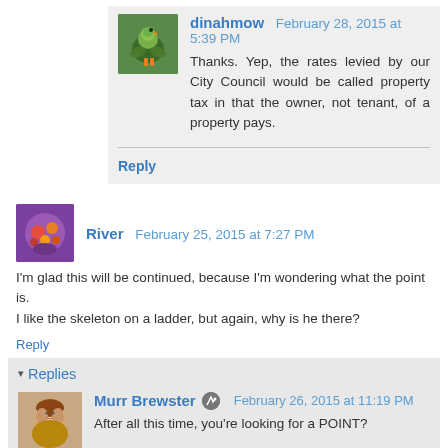dinahmow February 28, 2015 at 5:39 PM
Thanks. Yep, the rates levied by our City Council would be called property tax in that the owner, not tenant, of a property pays.
Reply
River February 25, 2015 at 7:27 PM
I'm glad this will be continued, because I'm wondering what the point is.
I like the skeleton on a ladder, but again, why is he there?
Reply
Replies
Murr Brewster February 26, 2015 at 11:19 PM
After all this time, you're looking for a POINT?